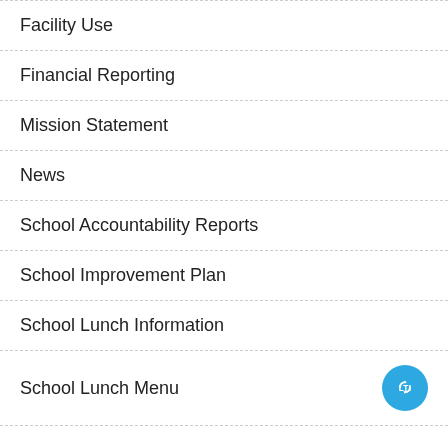Facility Use
Financial Reporting
Mission Statement
News
School Accountability Reports
School Improvement Plan
School Lunch Information
School Lunch Menu